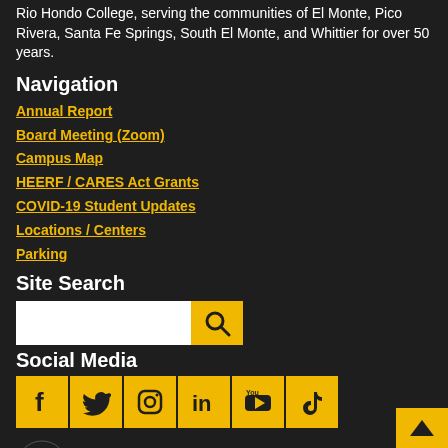Rio Hondo College, serving the communities of El Monte, Pico Rivera, Santa Fe Springs, South El Monte, and Whittier for over 50 years.
Navigation
Annual Report
Board Meeting (Zoom)
Campus Map
HEERF / CARES Act Grants
COVID-19 Student Updates
Locations / Centers
Parking
Site Search
[Figure (screenshot): Search bar with white input field and yellow search button with magnifying glass icon]
Social Media
[Figure (infographic): Row of social media icons: Facebook, Twitter, Instagram, LinkedIn, YouTube, TikTok — each in a yellow square]
[Figure (logo): AccessRio logo: circular swirl icon in orange and white next to bold white text ACCESSRIO]
Select Language